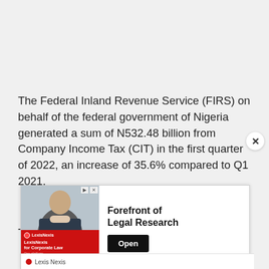The Federal Inland Revenue Service (FIRS) on behalf of the federal government of Nigeria generated a sum of N532.48 billion from Company Income Tax (CIT) in the first quarter of 2022, an increase of 35.6% compared to Q1 2021.
This is contained in the recently released
[Figure (other): Advertisement banner for LexisNexis for Corporate Law — 'Forefront of Legal Research' with an Open button]